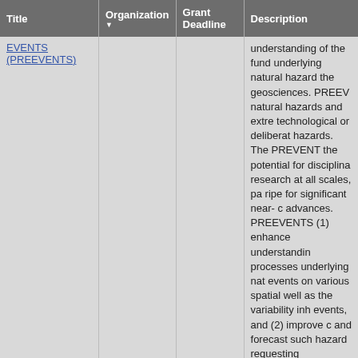| Title | Organization ▼ | Grant Deadline | Description |
| --- | --- | --- | --- |
| EVENTS (PREEVENTS) |  |  | understanding of the fund underlying natural hazard the geosciences. PREEV natural hazards and extre technological or deliberat hazards. The PREVENT the potential for disciplina research at all scales, pa ripe for significant near- advances. PREEVENTS (1) enhance understandin processes underlying nat events on various spatial well as the variability inh events, and (2) improve and forecast such hazard requesting PREEVENTS focused on these two tar PREEVENTS projects wi understanding of the effe extreme events and will support by other program new tools to enhance so |